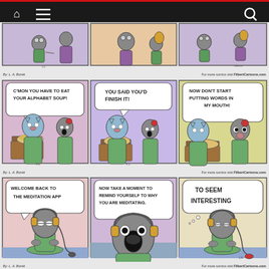[Figure (illustration): Website navigation bar with home icon, hamburger menu icon, and search icon on dark background with red top stripe]
[Figure (illustration): Partial comic strip row 1 - three panels showing cartoon animal characters, partially visible at top]
By: L. A. Bonté    For more comics visit FilbertCartoons.com
[Figure (illustration): Comic strip row 2 - alphabet soup. Panel 1: C'MON YOU HAVE TO EAT YOUR ALPHABET SOUP! Panel 2: YOU SAID YOU'D FINISH IT! Panel 3: NOW DON'T START PUTTING WORDS IN MY MOUTH!]
By: L. A. Bonté    For more comics visit FilbertCartoons.com
[Figure (illustration): Comic strip row 3 - meditation app. Panel 1: WELCOME BACK TO THE MEDITATION APP. Panel 2: NOW TAKE A MOMENT TO REMIND YOURSELF TO WHY YOU ARE MEDITATING. Panel 3: TO SEEM INTERESTING.]
By: L. A. Bonté    For more comics visit FilbertCartoons.com